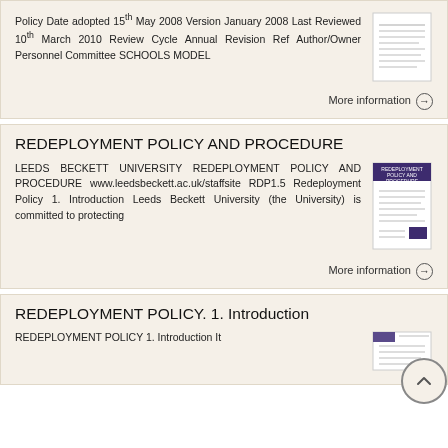Policy Date adopted 15th May 2008 Version January 2008 Last Reviewed 10th March 2010 Review Cycle Annual Revision Ref Author/Owner Personnel Committee SCHOOLS MODEL
More information →
REDEPLOYMENT POLICY AND PROCEDURE
LEEDS BECKETT UNIVERSITY REDEPLOYMENT POLICY AND PROCEDURE www.leedsbeckett.ac.uk/staffsite RDP1.5 Redeployment Policy 1. Introduction Leeds Beckett University (the University) is committed to protecting
More information →
REDEPLOYMENT POLICY. 1. Introduction
REDEPLOYMENT POLICY 1. Introduction It